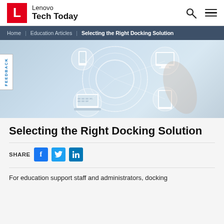Lenovo Tech Today
Home | Education Articles | Selecting the Right Docking Solution
[Figure (illustration): Hero image showing interconnected digital devices (smartphone, laptop, monitor, tablet) in circular holographic rings, with a hand pointing — technology connectivity concept. Left side has a white FEEDBACK tab with vertical text.]
Selecting the Right Docking Solution
SHARE
For education support staff and administrators, docking solutions are...